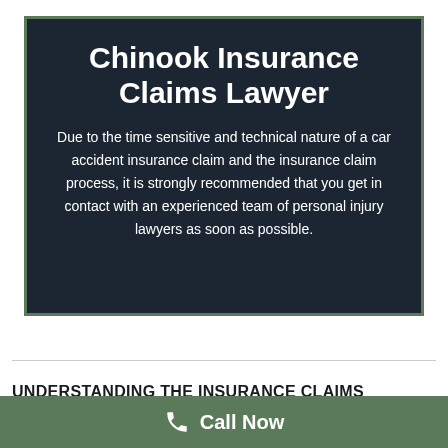Chinook Insurance Claims Lawyer
Due to the time sensitive and technical nature of a car accident insurance claim and the insurance claim process, it is strongly recommended that you get in contact with an experienced team of personal injury lawyers as soon as possible.
UNDERSTANDING THE INSURANCE CLAIMS
Call Now